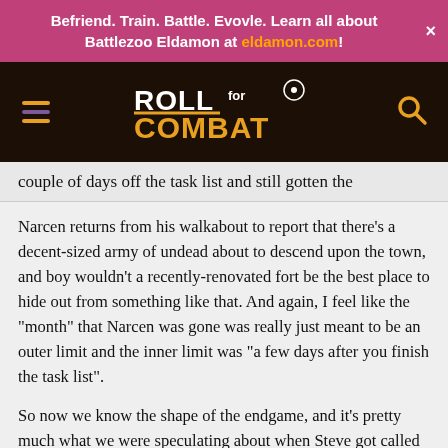Befriend. Train. Battle. Evovle. Learn all about Battlezoo Eldamon at eldamon.com!
[Figure (logo): Roll for Combat website navigation bar with hamburger menu icon on left, Roll for Combat logo in center, and search icon on right, over dark background]
couple of days off the task list and still gotten the
Narcen returns from his walkabout to report that there’s a decent-sized army of undead about to descend upon the town, and boy wouldn’t a recently-renovated fort be the best place to hide out from something like that. And again, I feel like the “month” that Narcen was gone was really just meant to be an outer limit and the inner limit was “a few days after you finish the task list”.
So now we know the shape of the endgame, and it’s pretty much what we were speculating about when Steve got called away for his work